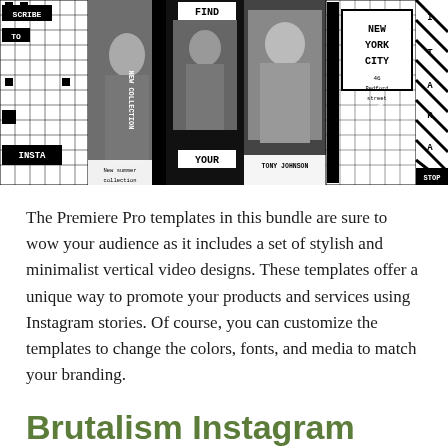[Figure (illustration): A horizontal strip of Instagram story template previews in black and white brutalist style. Cards show text overlays like 'SUBSCRIBE TO INSTA', 'NEW COLLECTION', 'FIND YOUR', 'TONY JOHNSON', 'NEW YORK CITY GRAND OPENING 46 Bedford street', and partial cards on edges. Photos of people are shown in some cards.]
The Premiere Pro templates in this bundle are sure to wow your audience as it includes a set of stylish and minimalist vertical video designs. These templates offer a unique way to promote your products and services using Instagram stories. Of course, you can customize the templates to change the colors, fonts, and media to match your branding.
Brutalism Instagram Stories Vertical Video